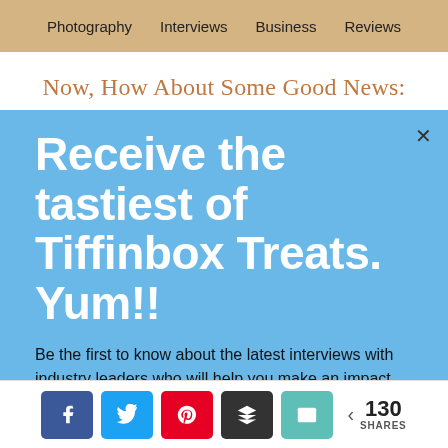Photography  Interviews  Business  Reviews
Now, How About Some Good News:
You can still run a great business, even in a lousy
[Figure (screenshot): Blue popup overlay with close X button, large white bold text reading 'Receive the tastiest of Tiffinbox Treats. Yum!!' and body text 'Be the first to know about the latest interviews with industry leaders who will help you make an impact.']
< 130 SHARES [Facebook] [Twitter] [Pinterest] [Buffer] [Email]